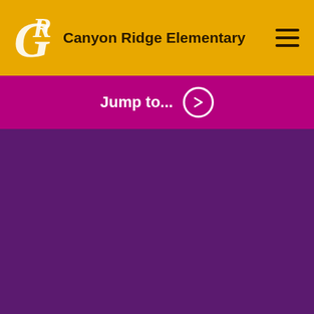Canyon Ridge Elementary
Jump to...
[Figure (other): Large purple hero banner area with dark purple background]
Home / Teachers / Malone, Julie / Welcome
Malone, Julie